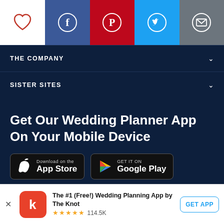[Figure (infographic): Top bar with social sharing icons: heart (white bg), Facebook (blue), Pinterest (red), Twitter (light blue), Email (gray)]
THE COMPANY
SISTER SITES
Get Our Wedding Planner App On Your Mobile Device
[Figure (other): Download on the App Store button (black, Apple logo)]
[Figure (other): GET IT ON Google Play button (black, Google Play logo)]
[Figure (infographic): Bottom app download banner: The Knot app icon (red), app title, 5-star rating 114.5K reviews, GET APP button]